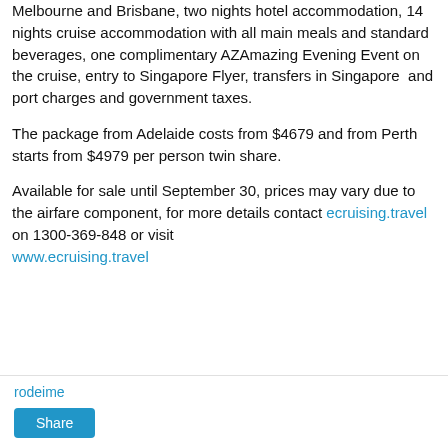Melbourne and Brisbane, two nights hotel accommodation, 14 nights cruise accommodation with all main meals and standard beverages, one complimentary AZAmazing Evening Event on the cruise, entry to Singapore Flyer, transfers in Singapore  and port charges and government taxes.
The package from Adelaide costs from $4679 and from Perth starts from $4979 per person twin share.
Available for sale until September 30, prices may vary due to the airfare component, for more details contact ecruising.travel on 1300-369-848 or visit www.ecruising.travel
rodeime
Share